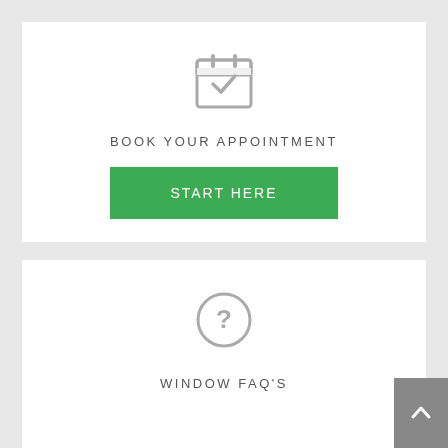[Figure (illustration): Calendar icon with a checkmark, gray outline style]
BOOK YOUR APPOINTMENT
[Figure (illustration): Green button labeled START HERE]
[Figure (illustration): Circle question mark icon, gray outline style]
WINDOW FAQ'S
[Figure (illustration): Gray back-to-top button with upward chevron arrow]